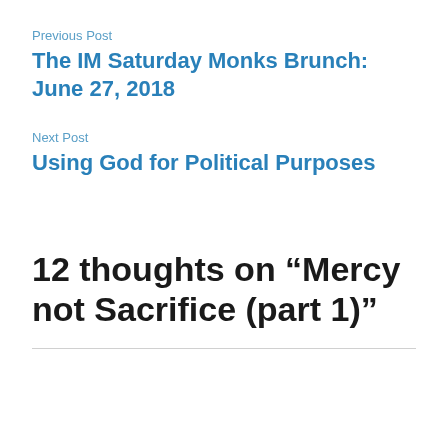Previous Post
The IM Saturday Monks Brunch: June 27, 2018
Next Post
Using God for Political Purposes
12 thoughts on “Mercy not Sacrifice (part 1)”